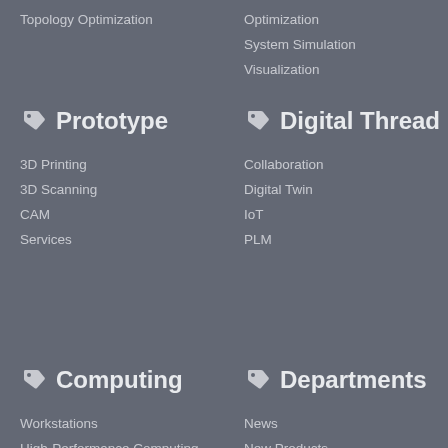Topology Optimization
Optimization
System Simulation
Visualization
Prototype
Digital Thread
3D Printing
3D Scanning
CAM
Services
Collaboration
Digital Twin
IoT
PLM
Computing
Departments
Workstations
High-Performance Computing
Cluster Computing
News
New Products
Reviews